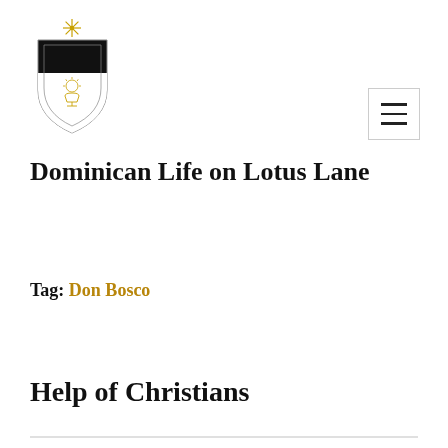[Figure (logo): Dominican shield crest logo with black and white shield, gold star at top, and chalice/sun symbol in center]
Dominican Life on Lotus Lane
Tag: Don Bosco
Help of Christians